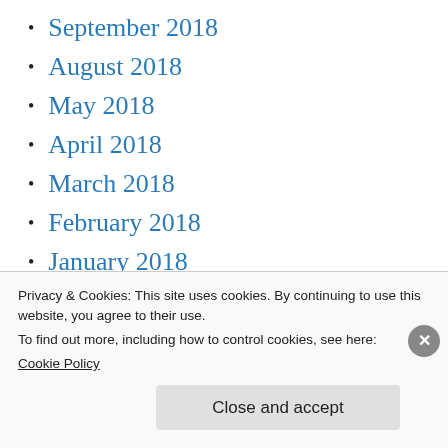September 2018
August 2018
May 2018
April 2018
March 2018
February 2018
January 2018
November 2017
October 2017
September 2017
Privacy & Cookies: This site uses cookies. By continuing to use this website, you agree to their use. To find out more, including how to control cookies, see here: Cookie Policy